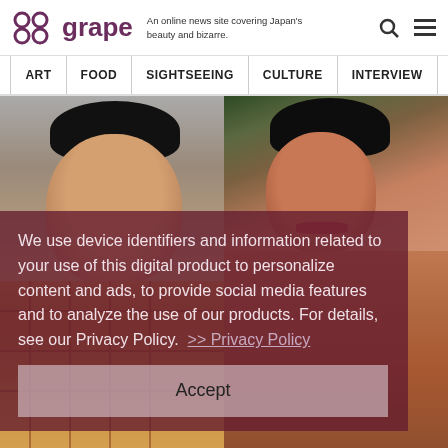grape — An online news site covering Japan's beauty and bizarre.
ART
FOOD
SIGHTSEEING
CULTURE
INTERVIEW
[Figure (photo): Two photos side by side: left shows a young Japanese man in a plaid shirt with dark hair; right shows a muscular shirtless young man with dark hair posed against rocks with greenery.]
We use device identifiers and information related to your use of this digital product to personalize content and ads, to provide social media features and to analyze the use of our products. For details, see our Privacy Policy.  >> Privacy Policy
Accept